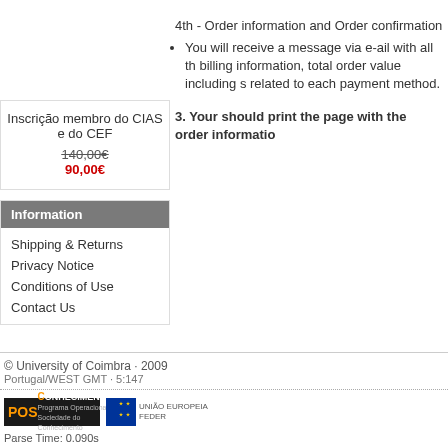Inscrição membro do CIAS e do CEF
140,00€
90,00€
Information
Shipping & Returns
Privacy Notice
Conditions of Use
Contact Us
4th - Order information and Order confirmation
You will receive a message via e-ail with all the billing information, total order value including s related to each payment method.
3. Your should print the page with the order informatio
© University of Coimbra · 2009
Portugal/WEST GMT · 5:147
Parse Time: 0.090s